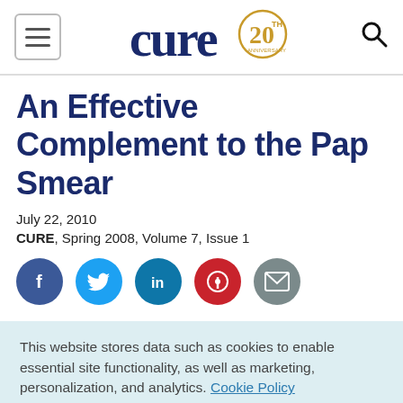cure 20th anniversary
An Effective Complement to the Pap Smear
July 22, 2010
CURE, Spring 2008, Volume 7, Issue 1
[Figure (infographic): Social sharing icons: Facebook, Twitter, LinkedIn, Pinterest, Email]
This website stores data such as cookies to enable essential site functionality, as well as marketing, personalization, and analytics. Cookie Policy
Accept
Deny